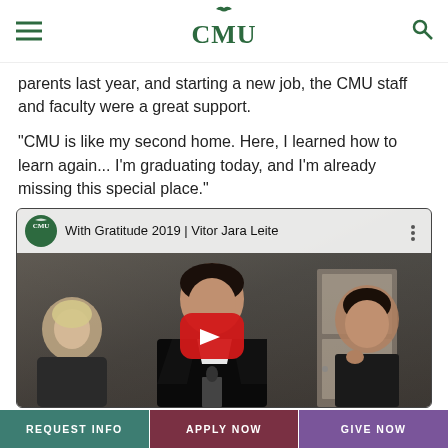CMU
parents last year, and starting a new job, the CMU staff and faculty were a great support.
"CMU is like my second home. Here, I learned how to learn again... I'm graduating today, and I'm already missing this special place."
[Figure (screenshot): YouTube video thumbnail titled 'With Gratitude 2019 | Vitor Jara Leite' showing a man in graduation robes speaking at a podium, with CMU branding and a red play button overlay.]
REQUEST INFO   APPLY NOW   GIVE NOW